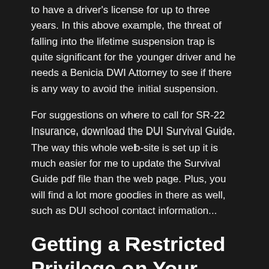to have a driver's license for up to three years. In this above example, the threat of falling into the lifetime suspension trap is quite significant for the younger driver and he needs a Benicia DWI Attorney to see if there is any way to avoid the initial suspension.
For suggestions on where to call for SR-22 Insurance, download the DUI Survival Guide. The way this whole web-site is set up it is much easier for me to update the Survival Guide pdf file than the web page. Plus, you will find a lot more goodies in there as well, such as DUI school contact information...
Getting a Restricted Privilege on Your License Suspension
Car Insurance after a drunk driving conviction is required by law to have a high-risk designation for a number of years. Generally, SR22 drunk driving insurance is required for three